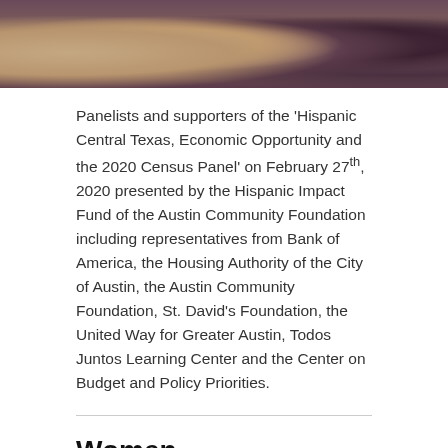[Figure (photo): Group photo of panelists and supporters, cropped to show lower portion of people standing together]
Panelists and supporters of the 'Hispanic Central Texas, Economic Opportunity and the 2020 Census Panel' on February 27th, 2020 presented by the Hispanic Impact Fund of the Austin Community Foundation including representatives from Bank of America, the Housing Authority of the City of Austin, the Austin Community Foundation, St. David's Foundation, the United Way for Greater Austin, Todos Juntos Learning Center and the Center on Budget and Policy Priorities.
Women changemakers – let's